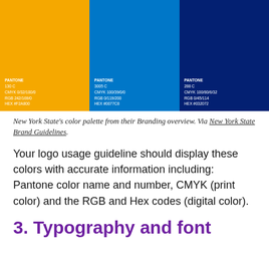[Figure (infographic): Three color swatches side by side. Left: orange (Pantone 130 C, CMYK 0/32/100/0, RGB 242/169/0, HEX #F2A800). Middle: bright blue (Pantone 3005 C, CMYK 100/39/0/0, RGB 0/119/200, HEX #0077C8). Right: dark navy blue (Pantone 288 C, CMYK 100/80/6/32, RGB 0/45/114, HEX #032072).]
New York State's color palette from their Branding overview. Via New York State Brand Guidelines.
Your logo usage guideline should display these colors with accurate information including: Pantone color name and number, CMYK (print color) and the RGB and Hex codes (digital color).
3. Typography and font